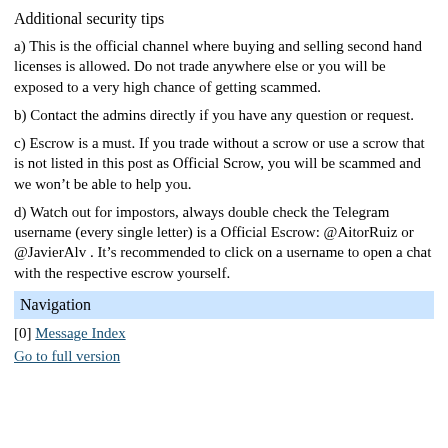Additional security tips
a) This is the official channel where buying and selling second hand licenses is allowed. Do not trade anywhere else or you will be exposed to a very high chance of getting scammed.
b) Contact the admins directly if you have any question or request.
c) Escrow is a must. If you trade without a scrow or use a scrow that is not listed in this post as Official Scrow, you will be scammed and we won’t be able to help you.
d) Watch out for impostors, always double check the Telegram username (every single letter) is a Official Escrow: @AitorRuiz or @JavierAlv . It’s recommended to click on a username to open a chat with the respective escrow yourself.
Navigation
[0] Message Index
Go to full version